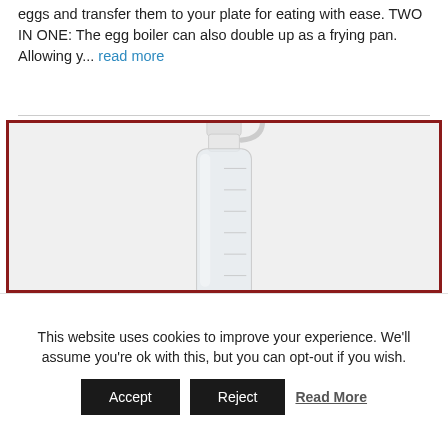eggs and transfer them to your plate for eating with ease. TWO IN ONE: The egg boiler can also double up as a frying pan. Allowing y... read more
[Figure (photo): A clear plastic squeeze bottle with a pointed nozzle cap, shown against a light gray background. The bottle is translucent/white and appears to have measurement markings on the side.]
This website uses cookies to improve your experience. We'll assume you're ok with this, but you can opt-out if you wish. [Accept] [Reject] Read More